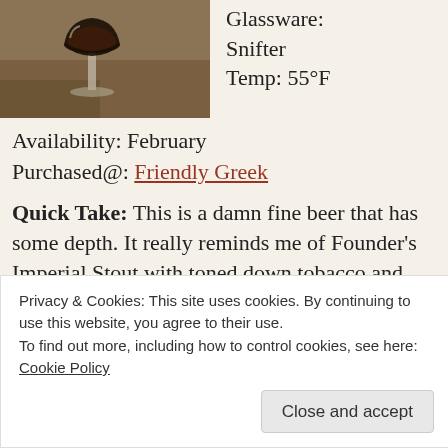[Figure (photo): A dark beer in a snifter glass, partially visible at the top of the page]
Glassware: Snifter
Temp: 55°F
Availability: February
Purchased@: Friendly Greek
Quick Take: This is a damn fine beer that has some depth. It really reminds me of Founder's Imperial Stout with toned down tobacco and intensified chocolate. I'd need to do a blind tasting to really determine which I prefer more, but Dark Horse has produced an excellent RIS that needs to be tasted. Really looking forward
Privacy & Cookies: This site uses cookies. By continuing to use this website, you agree to their use.
To find out more, including how to control cookies, see here:
Cookie Policy
Close and accept